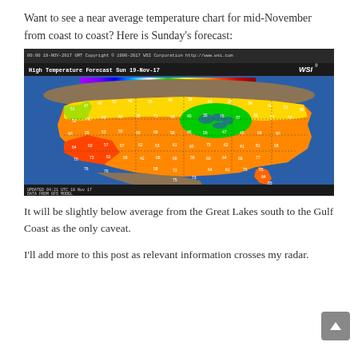Want to see a near average temperature chart for mid-November from coast to coast? Here is Sunday's forecast:
[Figure (map): WSI High Temperature Forecast map for Sunday 19-Nov-17, showing temperature colors across the contiguous United States. Color scale from purple/pink (below -30s) through green (30s-40s) to yellow (50s-60s) to orange and red (70s-80s+). Great Lakes region shown in green indicating below-average temperatures. Southern states in orange/red indicating warmer temperatures. Header: '00:00 19-NOV-2017 GMT Copyright 1990-2017 WSI Corporation http://www.wsi.com' and 'High Temperature Forecast Sun 19-Nov-17'. Footer: 'UPDATED 04:21 UTC 18 Nov 17 DATA FROM GFS MODEL'. WSI logo in upper right.]
It will be slightly below average from the Great Lakes south to the Gulf Coast as the only caveat.
I'll add more to this post as relevant information crosses my radar.